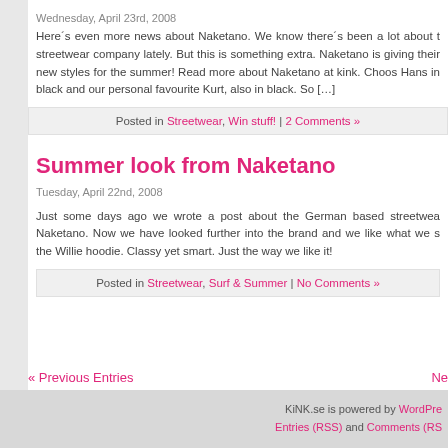Wednesday, April 23rd, 2008
Here´s even more news about Naketano. We know there´s been a lot about this streetwear company lately. But this is something extra. Naketano is giving away their new styles for the summer! Read more about Naketano at kink. Choose from Hans in black and our personal favourite Kurt, also in black. So […]
Posted in Streetwear, Win stuff! | 2 Comments »
Summer look from Naketano
Tuesday, April 22nd, 2008
Just some days ago we wrote a post about the German based streetwear brand Naketano. Now we have looked further into the brand and we like what we see – the Willie hoodie. Classy yet smart. Just the way we like it!
Posted in Streetwear, Surf & Summer | No Comments »
« Previous Entries
Ne
KiNK.se is powered by WordPress. Entries (RSS) and Comments (RSS)